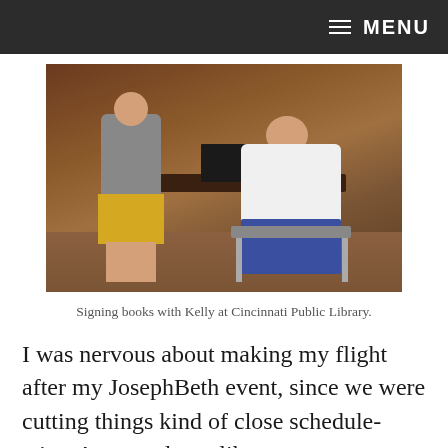≡ MENU
[Figure (photo): Two people at a table stacked with books inside what appears to be a wood-paneled room. A woman stands on the left in a gray top and yellow floral skirt. A man sits on the right in a white shirt and jeans, smiling.]
Signing books with Kelly at Cincinnati Public Library.
I was nervous about making my flight after my JosephBeth event, since we were cutting things kind of close schedule-wise. Annette drove like a